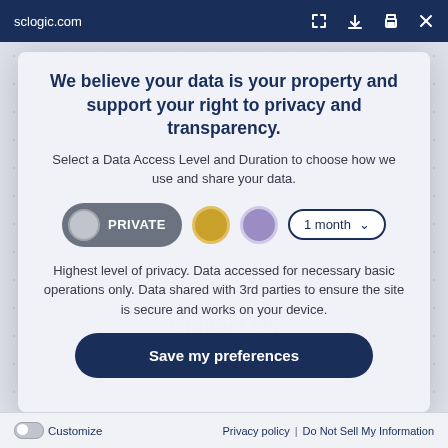sclogic.com
We believe your data is your property and support your right to privacy and transparency.
Select a Data Access Level and Duration to choose how we use and share your data.
[Figure (infographic): Privacy controls row: PRIVATE toggle button (grey), gold circle icon, purple circle icon, and 1 month dropdown selector]
Highest level of privacy. Data accessed for necessary basic operations only. Data shared with 3rd parties to ensure the site is secure and works on your device.
Save my preferences
Customize | Privacy policy | Do Not Sell My Information